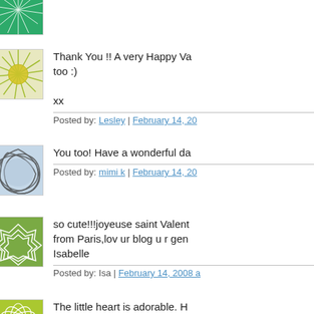Posted by: Valerie | February 14, 20...
Thank You !! A very Happy Va... too :)

xx
Posted by: Lesley | February 14, 20...
You too! Have a wonderful da...
Posted by: mimi k | February 14, 20...
so cute!!!joyeuse saint Valent... from Paris,lov ur blog u r gen... Isabelle
Posted by: Isa | February 14, 2008 a...
The little heart is adorable. H... Valentine's Day!